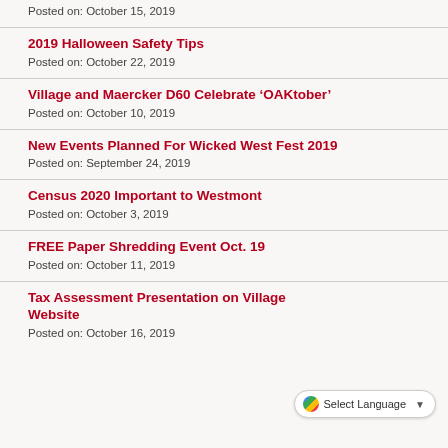Posted on: October 15, 2019
2019 Halloween Safety Tips
Posted on: October 22, 2019
Village and Maercker D60 Celebrate ‘OAKtober’
Posted on: October 10, 2019
New Events Planned For Wicked West Fest 2019
Posted on: September 24, 2019
Census 2020 Important to Westmont
Posted on: October 3, 2019
FREE Paper Shredding Event Oct. 19
Posted on: October 11, 2019
Tax Assessment Presentation on Village Website
Posted on: October 16, 2019